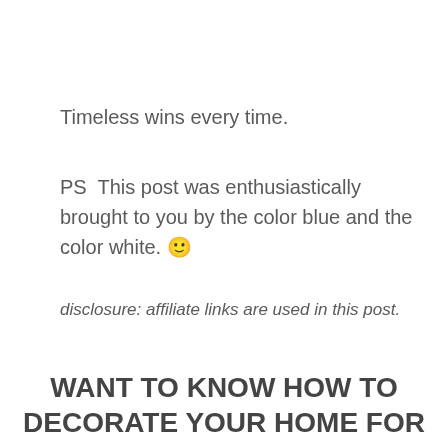Timeless wins every time.
PS  This post was enthusiastically brought to you by the color blue and the color white. 🙂
disclosure: affiliate links are used in this post.
WANT TO KNOW HOW TO DECORATE YOUR HOME FOR FREE? CLICK HERE TO GET MY FIVE BEST SECRETS.